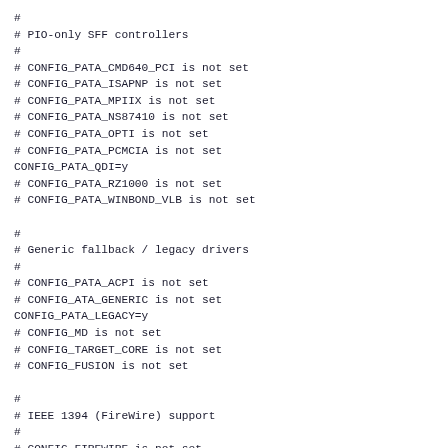#
# PIO-only SFF controllers
#
# CONFIG_PATA_CMD640_PCI is not set
# CONFIG_PATA_ISAPNP is not set
# CONFIG_PATA_MPIIX is not set
# CONFIG_PATA_NS87410 is not set
# CONFIG_PATA_OPTI is not set
# CONFIG_PATA_PCMCIA is not set
CONFIG_PATA_QDI=y
# CONFIG_PATA_RZ1000 is not set
# CONFIG_PATA_WINBOND_VLB is not set

#
# Generic fallback / legacy drivers
#
# CONFIG_PATA_ACPI is not set
# CONFIG_ATA_GENERIC is not set
CONFIG_PATA_LEGACY=y
# CONFIG_MD is not set
# CONFIG_TARGET_CORE is not set
# CONFIG_FUSION is not set

#
# IEEE 1394 (FireWire) support
#
# CONFIG_FIREWIRE is not set
# CONFIG_FIREWIRE_NOSY is not set
# CONFIG_I2O is not set
# CONFIG_MACINTOSH_DRIVERS is not set